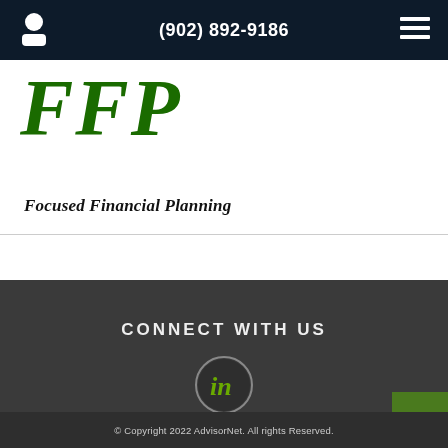(902) 892-9186
[Figure (logo): FFP logo with large green italic letters 'FFP' and tagline 'Focused Financial Planning' in bold italic below]
CONNECT WITH US
[Figure (logo): LinkedIn circular icon with green 'in' text on dark background]
© Copyright 2022 AdvisorNet. All rights Reserved.